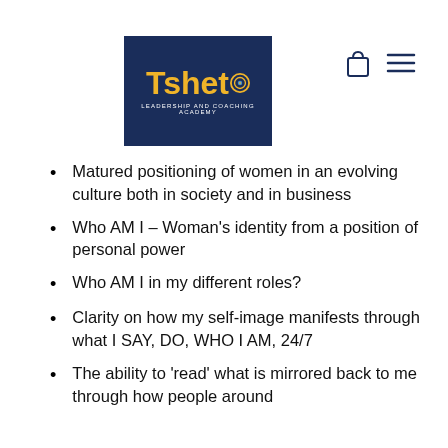[Figure (logo): Tsheto Leadership and Coaching Academy logo — dark navy blue rectangle with yellow/gold text 'Tsheto' and a target/bullseye icon replacing the 'o', with small white subtitle text 'LEADERSHIP AND COACHING ACADEMY']
[Figure (other): Navigation icons: shopping bag icon and hamburger menu icon in dark navy color]
Matured positioning of women in an evolving culture both in society and in business
Who AM I – Woman's identity from a position of personal power
Who AM I in my different roles?
Clarity on how my self-image manifests through what I SAY, DO, WHO I AM, 24/7
The ability to 'read' what is mirrored back to me through how people around